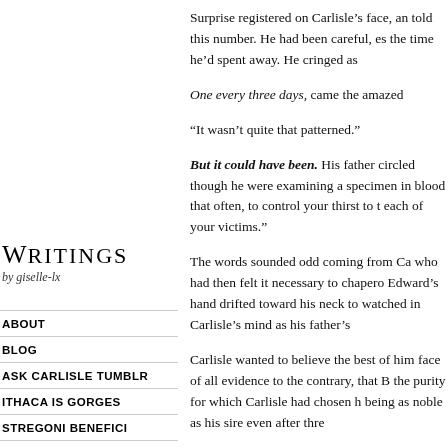Surprise registered on Carlisle’s face, and told this number. He had been careful, es the time he’d spent away. He cringed as
One every three days, came the amazed
“It wasn’t quite that patterned.”
But it could have been. His father circled though he were examining a specimen in blood that often, to control your thirst to t each of your victims.”
The words sounded odd coming from Ca who had then felt it necessary to chapero Edward’s hand drifted toward his neck to watched in Carlisle’s mind as his father’s
Carlisle wanted to believe the best of him face of all evidence to the contrary, that B the purity for which Carlisle had chosen h being as noble as his sire even after thre
Writings by giselle-lx
ABOUT
BLOG
ASK CARLISLE TUMBLR
ITHACA IS GORGES
STREGONI BENEFICI
ONE DAY